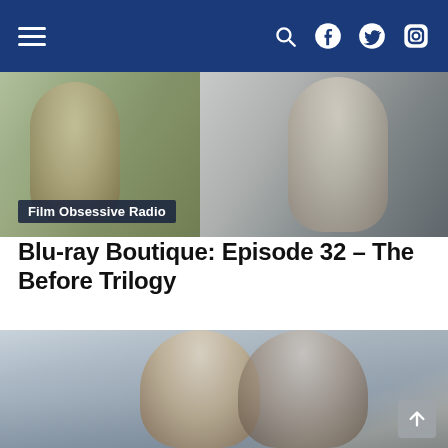Navigation bar with hamburger menu and social icons (search, Facebook, Twitter, Instagram)
[Figure (photo): Film still from The Before Trilogy showing two actors facing each other outdoors, with a label 'Film Obsessive Radio' overlaid at the bottom left]
Blu-ray Boutique: Episode 32 – The Before Trilogy
[Figure (photo): Film still from Before Sunrise showing a young couple (Julie Delpy and Ethan Hawke) looking at each other with European architecture in the background]